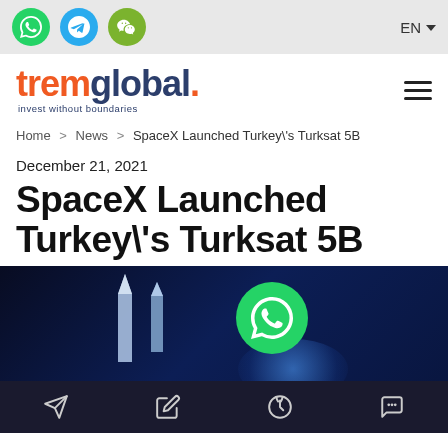Social icons (WhatsApp, Telegram, WeChat) | EN language selector
[Figure (logo): tremglobal. invest without boundaries logo]
Home > News > SpaceX Launched Turkey\'s Turksat 5B
December 21, 2021
SpaceX Launched Turkey\'s Turksat 5B
[Figure (photo): Dark blue space background with rocket silhouettes and a WhatsApp share overlay button]
Bottom navigation bar with Telegram, edit, Viber, and chat icons